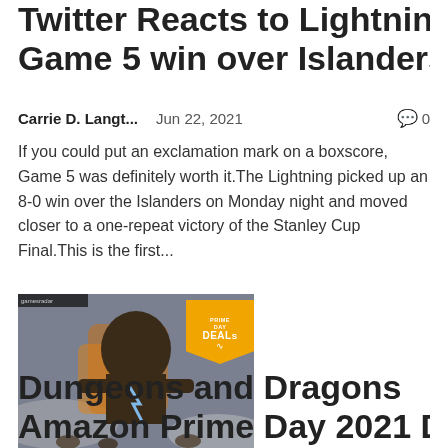Twitter Reacts to Lightning's Game 5 win over Islanders
Carrie D. Langt...   Jun 22, 2021   💬 0
If you could put an exclamation mark on a boxscore, Game 5 was definitely worth it.The Lightning picked up an 8-0 win over the Islanders on Monday night and moved closer to a one-repeat victory of the Stanley Cup Final.This is the first...
[Figure (photo): Fantasy/gaming artwork showing a werewolf or monster creature with fire and lightning effects, overlaid with a gold Prime Day Deals badge from GamesRadar]
Dungeons and Dragons Amazon Prime Day 2021 Deals